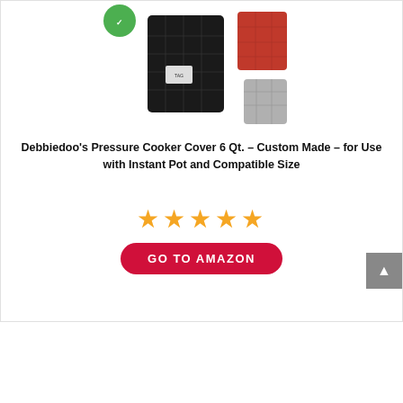[Figure (photo): Product photo of Debbiedoo's Pressure Cooker Cover 6 Qt - black quilted cover with accessories including red and silver versions, shown on white background with a green logo badge in top-left corner]
Debbiedoo's Pressure Cooker Cover 6 Qt. – Custom Made – for Use with Instant Pot and Compatible Size
[Figure (other): Five gold/orange star rating icons]
GO TO AMAZON
The Lakeside Collection Slow Cooker Carriers – Buffalo Plaid